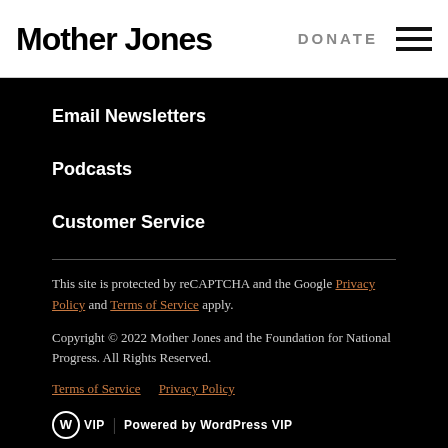Mother Jones | DONATE
Email Newsletters
Podcasts
Customer Service
This site is protected by reCAPTCHA and the Google Privacy Policy and Terms of Service apply.
Copyright © 2022 Mother Jones and the Foundation for National Progress. All Rights Reserved.
Terms of Service   Privacy Policy
WP VIP | Powered by WordPress VIP